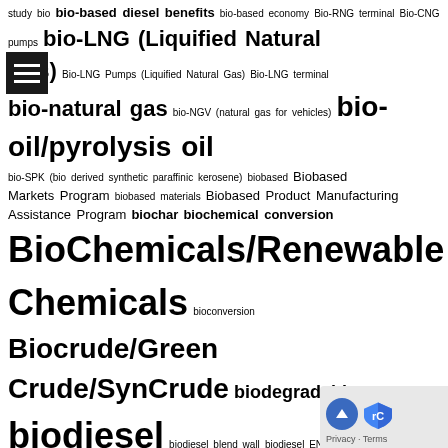study bio bio-based diesel benefits bio-based economy Bio-RNG terminal Bio-CNG pumps bio-LNG (Liquified Natural Gas) Bio-LNG Pumps (Liquified Natural Gas) Bio-LNG terminal bio-natural gas bio-NGV (natural gas for vehicles) bio-oil/pyrolysis oil bio-SPK (bio derived synthetic paraffinic kerosene) biobased Biobased Markets Program biobased materials Biobased Product Manufacturing Assistance Program biochar biochemical conversion BioChemicals/Renewable Chemicals bioconversion Biocrude/Green Crude/SynCrude biodegradable biodies biodiesel biodiesel blend wall biodiesel EN 14214 Biodiesel Fuel Education Program biodiesel prices biodiesel production biodiesel pumps biodiesel quality biodiesel standards biodiesel tax credit biodiesel technologies biodiesel terminal biodiversity bioeconomy bioelectricity bioelectrochemical conversion bioenergy Bioenergy Program for Advanced Biofuels Bioenergy with Carbon Capture and Storage (BECCS) biofoundry Biofuel biofuel consumption Biofuel Crops biofuel distribution Biofuel Infrastructure Partnership (BIP) biofuel producer tax credit biofuel production Biofuels Directive biofuels education biofuels tax credit Biogas Biogasoline/Renewable Gasoline Biogasoline/Renewable Gasoline pumps biogenic carbon biogenic